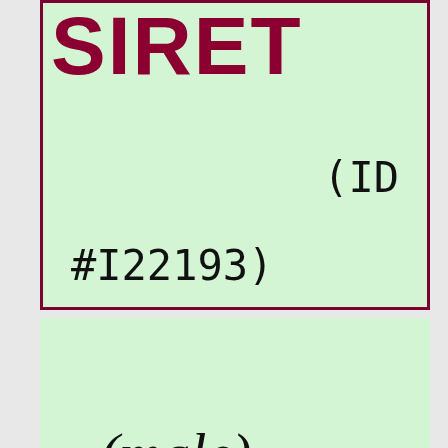SIRET
(ID #I22193)
(male)
[Figure (other): fold3 by Ancestry advertisement banner for Military Records with Search Now button]